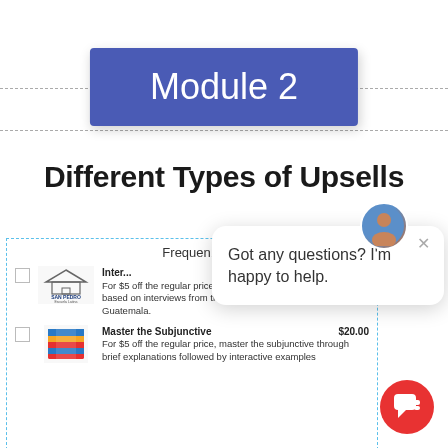Module 2
Different Types of Upsells
[Figure (screenshot): Screenshot of a course upsell page showing 'Frequently Bought Together' section with two items: an interview-based audio lesson product from San Pedro Spanish School in Guatemala, and 'Master the Subjunctive' for $20.00. Overlaid with a chat popup saying 'Got any questions? I'm happy to help.' and a red chat icon.]